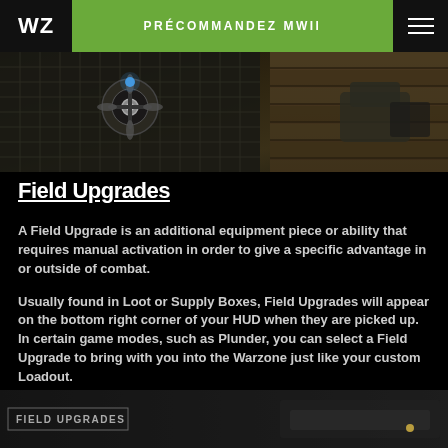WZ | PRÉCOMMANDEZ MWII
[Figure (photo): Top-down view of a game scene showing a tactical drone or equipment with a metallic grid surface and military boots on a wooden deck background]
Field Upgrades
A Field Upgrade is an additional equipment piece or ability that requires manual activation in order to give a specific advantage in or outside of combat.
Usually found in Loot or Supply Boxes, Field Upgrades will appear on the bottom right corner of your HUD when they are picked up. In certain game modes, such as Plunder, you can select a Field Upgrade to bring with you into the Warzone just like your custom Loadout.
[Figure (screenshot): Game HUD screenshot showing FIELD UPGRADES label at the bottom left]